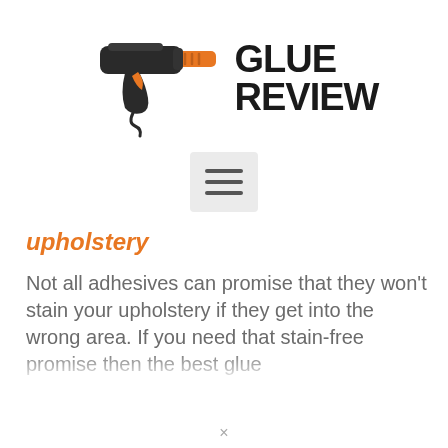[Figure (logo): Glue Review website logo: a hot glue gun illustration (dark/black body, orange barrel tip and trigger accent) with 'GLUE REVIEW' in bold black uppercase text to the right]
[Figure (other): Hamburger menu button: three horizontal dark lines on a light gray rounded rectangle background]
upholstery
Not all adhesives can promise that they won't stain your upholstery if they get into the wrong area. If you need that stain-free promise then the best glue